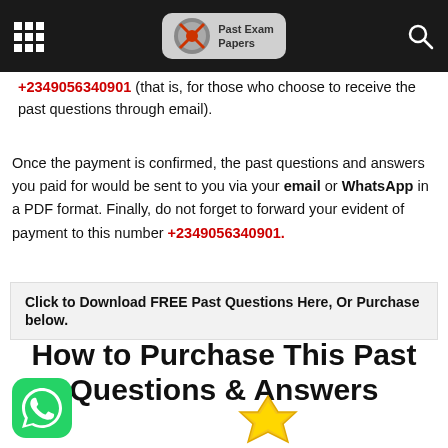Past Exam Papers
+2349056340901 (that is, for those who choose to receive the past questions through email).
Once the payment is confirmed, the past questions and answers you paid for would be sent to you via your email or WhatsApp in a PDF format. Finally, do not forget to forward your evident of payment to this number +2349056340901.
Click to Download FREE Past Questions Here, Or Purchase below.
How to Purchase This Past Questions & Answers